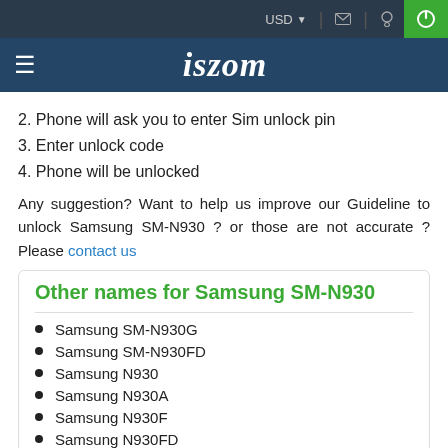USD | [mail icon] | [location icon] | [power icon]
iszom
2. Phone will ask you to enter Sim unlock pin
3. Enter unlock code
4. Phone will be unlocked
Any suggestion? Want to help us improve our Guideline to unlock Samsung SM-N930 ? or those are not accurate ? Please contact us
Other names for Samsung SM-N930
Samsung SM-N930G
Samsung SM-N930FD
Samsung N930
Samsung N930A
Samsung N930F
Samsung N930FD